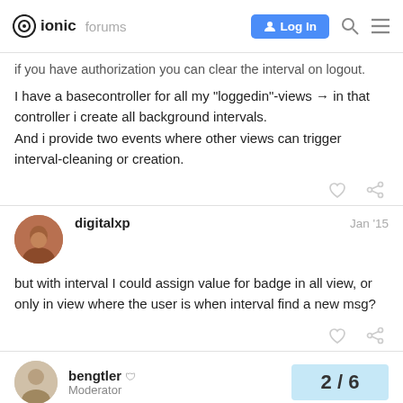ionic forums | Log In
if you have authorization you can clear the interval on logout.
I have a basecontroller for all my "loggedin"-views → in that controller i create all background intervals.
And i provide two events where other views can trigger interval-cleaning or creation.
digitalxp  Jan '15
but with interval I could assign value for badge in all view, or only in view where the user is when interval find a new msg?
bengtler  Moderator  2/6